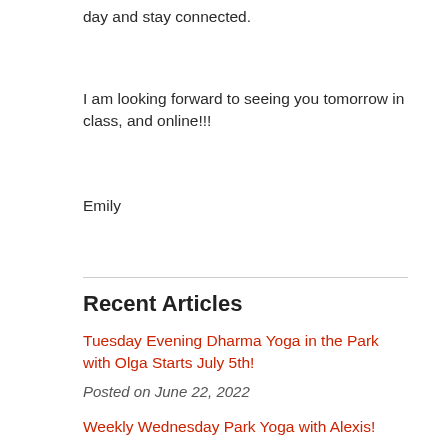day and stay connected.
I am looking forward to seeing you tomorrow in class, and online!!!
Emily
Recent Articles
Tuesday Evening Dharma Yoga in the Park with Olga Starts July 5th!
Posted on June 22, 2022
Weekly Wednesday Park Yoga with Alexis!